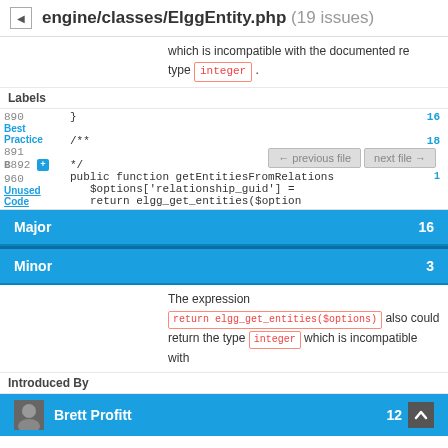engine/classes/ElggEntity.php (19 issues)
which is incompatible with the documented return type integer .
Labels
890  }  16
Best Practice
891
Bug 892 +  /**  18
960  */
Unused Code
961  public function getEntitiesFromRelations  1
962  $options['relationship_guid'] =
Severity
963  return elgg_get_entities($option
Major  16
Minor  3
The expression
return elgg_get_entities($options) also could return the type integer which is incompatible with
Introduced By
Brett Profitt  12